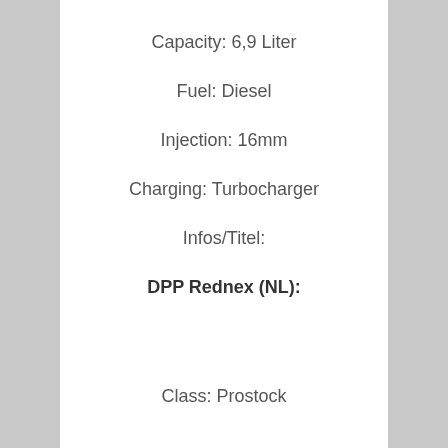Capacity: 6,9 Liter
Fuel: Diesel
Injection: 16mm
Charging: Turbocharger
Infos/Titel:
DPP Rednex (NL):
Class: Prostock